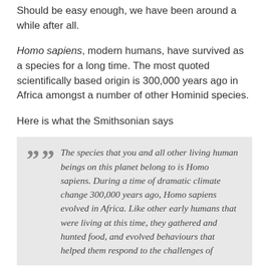Should be easy enough, we have been around a while after all.
Homo sapiens, modern humans, have survived as a species for a long time. The most quoted scientifically based origin is 300,000 years ago in Africa amongst a number of other Hominid species.
Here is what the Smithsonian says
The species that you and all other living human beings on this planet belong to is Homo sapiens. During a time of dramatic climate change 300,000 years ago, Homo sapiens evolved in Africa. Like other early humans that were living at this time, they gathered and hunted food, and evolved behaviours that helped them respond to the challenges of